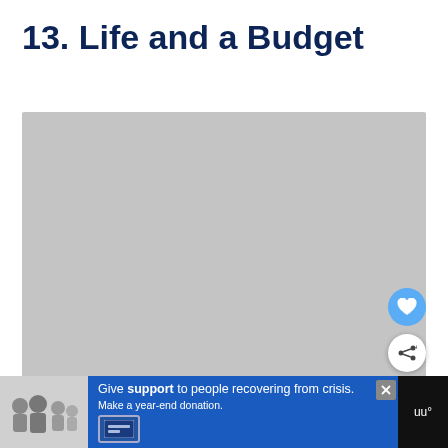13. Life and a Budget
[Figure (photo): Large gray placeholder image for chapter 13 content, with a heart (favorite) button and share button overlaid at the bottom right.]
[Figure (photo): Advertisement banner at the bottom of the page. Shows a family photo on the left, a blue panel with text 'Give support to people recovering from crisis. Make a year-end donation.' and a logo on the right reading 'uu°'.]